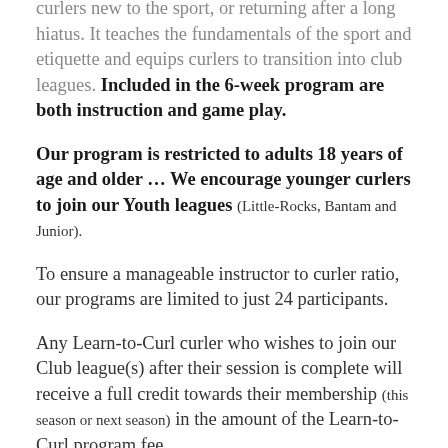curlers new to the sport, or returning after a long hiatus. It teaches the fundamentals of the sport and etiquette and equips curlers to transition into club leagues. Included in the 6-week program are both instruction and game play.
Our program is restricted to adults 18 years of age and older … We encourage younger curlers to join our Youth leagues (Little-Rocks, Bantam and Junior).
To ensure a manageable instructor to curler ratio, our programs are limited to just 24 participants.
Any Learn-to-Curl curler who wishes to join our Club league(s) after their session is complete will receive a full credit towards their membership (this season or next season) in the amount of the Learn-to-Curl program fee.
Contact ltc@curlhighland.com for more information.